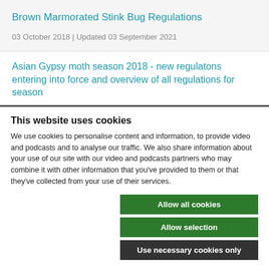Brown Marmorated Stink Bug Regulations
03 October 2018 | Updated 03 September 2021
Asian Gypsy moth season 2018 - new regulatons entering into force and overview of all regulations for season
This website uses cookies
We use cookies to personalise content and information, to provide video and podcasts and to analyse our traffic. We also share information about your use of our site with our video and podcasts partners who may combine it with other information that you've provided to them or that they've collected from your use of their services.
Allow all cookies
Allow selection
Use necessary cookies only
Necessary   Preferences   Statistics   Marketing   Show details